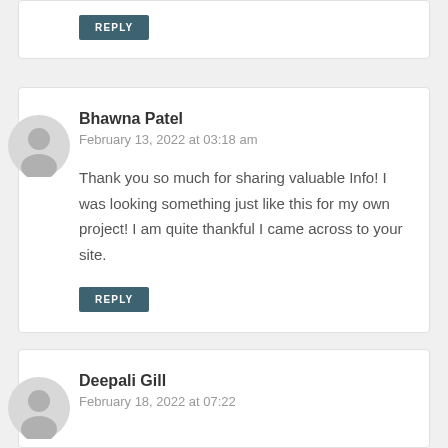REPLY
Bhawna Patel
February 13, 2022 at 03:18 am
Thank you so much for sharing valuable Info! I was looking something just like this for my own project! I am quite thankful I came across to your site.
REPLY
Deepali Gill